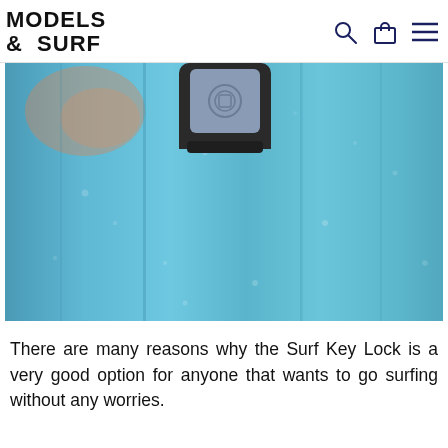MODELS & SURF
[Figure (photo): Close-up photograph of a Surf Key Lock device attached to the nose of a blue surfboard. The surfboard surface shows wax and wear marks. The key lock is a dark plastic rectangular device with a rounded top button/latch.]
There are many reasons why the Surf Key Lock is a very good option for anyone that wants to go surfing without any worries.